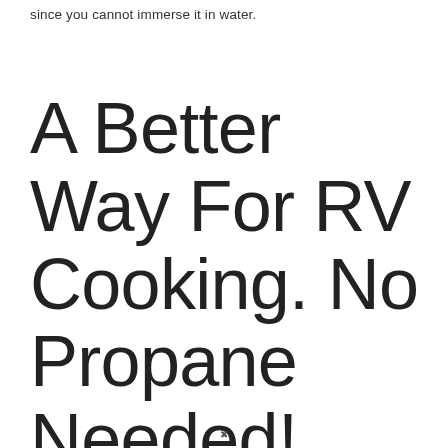since you cannot immerse it in water.
A Better Way For RV Cooking. No Propane Needed!